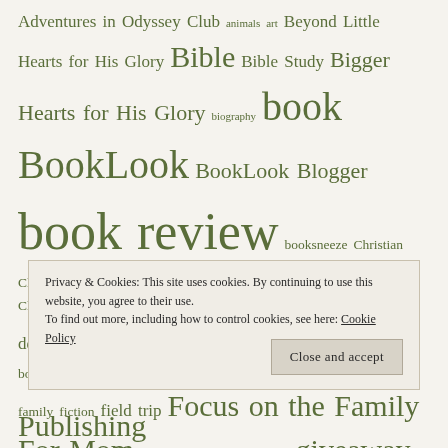Adventures in Odyssey Club animals art Beyond Little Hearts for His Glory Bible Bible Study Bigger Hearts for His Glory biography book BookLook BookLook Blogger book review booksneeze Christian Christian fiction Christmas Computers crafts Creation Resources Creation to Christ devotional Digital Scrapbooking DVD e-book English family fiction field trip Focus on the Family For Mom freebies FUN games geography giveaway Heart of Dakota history homeschool homeschooling
Privacy & Cookies: This site uses cookies. By continuing to use this website, you agree to their use. To find out more, including how to control cookies, see here: Cookie Policy
Publishing